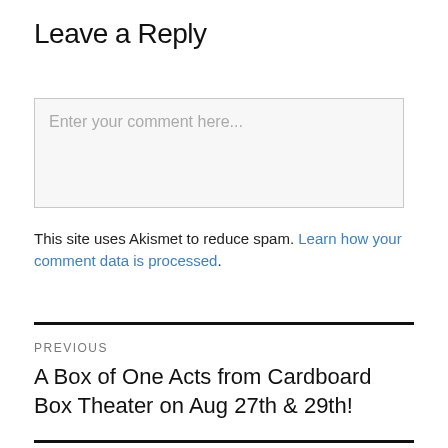Leave a Reply
[Figure (screenshot): Comment text area input box with placeholder text 'Enter your comment here...']
This site uses Akismet to reduce spam. Learn how your comment data is processed.
PREVIOUS
A Box of One Acts from Cardboard Box Theater on Aug 27th & 29th!